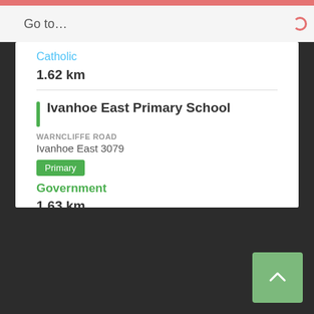Go to…
Catholic
1.62 km
Ivanhoe East Primary School
WARNCLIFFE ROAD
Ivanhoe East 3079
Primary
Government
1.63 km